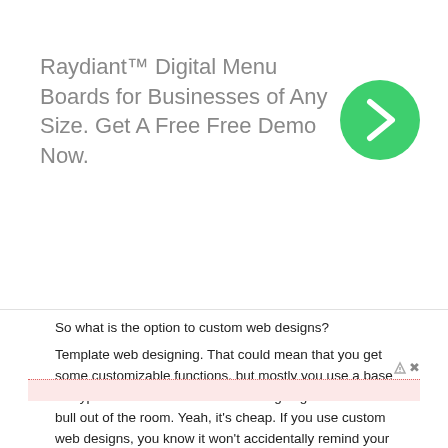[Figure (infographic): Advertisement banner with text 'Raydiant™ Digital Menu Boards for Businesses of Any Size. Get A Free Free Demo Now.' and a green circular button with a right-pointing chevron arrow on the right side.]
So what is the option to custom web designs?
Template web designing. That could mean that you get some customizable functions, but mostly you use a base file type with new characters. We' re going to take the bull out of the room. Yeah, it's cheap. If you use custom web designs, you know it won't accidentally remind your customers of the competition.
[Figure (other): Pink/light-red highlighted bar with dotted red top border, likely a text input or highlight element. Below it is a small ad badge with arrow icon and X.]